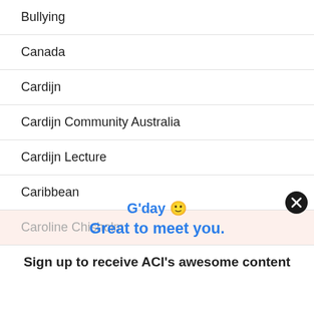Bullying
Canada
Cardijn
Cardijn Community Australia
Cardijn Lecture
Caribbean
Caroline Chisholm
G'day 🙂
Great to meet you.
Sign up to receive ACI's awesome content